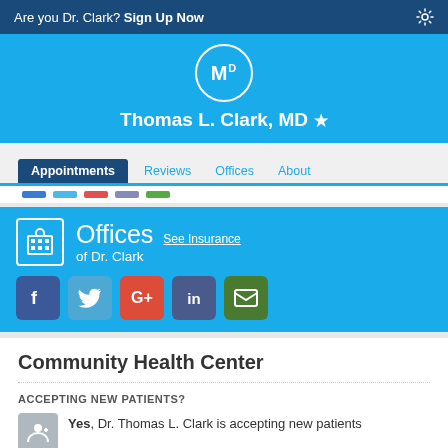Are you Dr. Clark? Sign Up Now
Thomas L. Clark, MD ★
Appointments | Reviews | Offices | About
Offices of Dr. Clark  See Insurance
Community Health Center
ACCEPTING NEW PATIENTS?
Yes, Dr. Thomas L. Clark is accepting new patients at this office